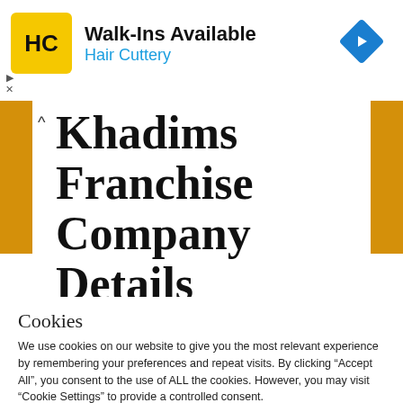[Figure (logo): Hair Cuttery ad banner with HC logo, Walk-Ins Available text, navigation arrow icon, and ad controls]
Khadims Franchise Company Details
See Also: Mr. Sandwich Franchise
Cookies
We use cookies on our website to give you the most relevant experience by remembering your preferences and repeat visits. By clicking “Accept All”, you consent to the use of ALL the cookies. However, you may visit “Cookie Settings” to provide a controlled consent.